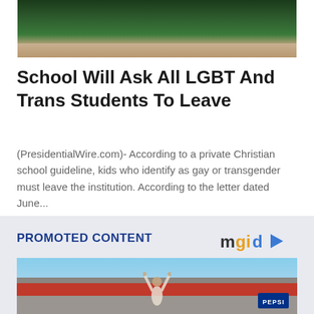[Figure (photo): Aerial or elevated photo of a building with trees/greenery in background]
School Will Ask All LGBT And Trans Students To Leave
(PresidentialWire.com)- According to a private Christian school guideline, kids who identify as gay or transgender must leave the institution. According to the letter dated June...
PROMOTED CONTENT
[Figure (logo): mgid logo with arrow icon]
[Figure (photo): Woman with arms raised in celebration at an outdoor event, Pepsi signage visible in background]